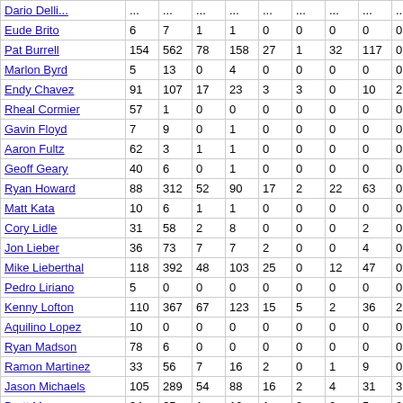| Name | G | AB | R | H | 2B | 3B | HR | RBI | SB | CS | BB | SO |  |
| --- | --- | --- | --- | --- | --- | --- | --- | --- | --- | --- | --- | --- | --- |
| Dario Delli... | ... | ... | ... | ... | ... | ... | ... | ... | ... | ... | ... | ... |  |
| Eude Brito | 6 | 7 | 1 | 1 | 0 | 0 | 0 | 0 | 0 | 0 | 0 | 2 | . |
| Pat Burrell | 154 | 562 | 78 | 158 | 27 | 1 | 32 | 117 | 0 | 0 | 99 | 160 | . |
| Marlon Byrd | 5 | 13 | 0 | 4 | 0 | 0 | 0 | 0 | 0 | 0 | 1 | 3 | . |
| Endy Chavez | 91 | 107 | 17 | 23 | 3 | 3 | 0 | 10 | 2 | 1 | 4 | 13 | . |
| Rheal Cormier | 57 | 1 | 0 | 0 | 0 | 0 | 0 | 0 | 0 | 0 | 0 | 1 | . |
| Gavin Floyd | 7 | 9 | 0 | 1 | 0 | 0 | 0 | 0 | 0 | 0 | 0 | 5 | . |
| Aaron Fultz | 62 | 3 | 1 | 1 | 0 | 0 | 0 | 0 | 0 | 0 | 0 | 2 | . |
| Geoff Geary | 40 | 6 | 0 | 1 | 0 | 0 | 0 | 0 | 0 | 0 | 0 | 4 | . |
| Ryan Howard | 88 | 312 | 52 | 90 | 17 | 2 | 22 | 63 | 0 | 1 | 33 | 100 | . |
| Matt Kata | 10 | 6 | 1 | 1 | 0 | 0 | 0 | 0 | 0 | 0 | 0 | 2 | . |
| Cory Lidle | 31 | 58 | 2 | 8 | 0 | 0 | 0 | 2 | 0 | 0 | 1 | 30 | . |
| Jon Lieber | 36 | 73 | 7 | 7 | 2 | 0 | 0 | 4 | 0 | 0 | 1 | 29 | . |
| Mike Lieberthal | 118 | 392 | 48 | 103 | 25 | 0 | 12 | 47 | 0 | 0 | 35 | 35 | . |
| Pedro Liriano | 5 | 0 | 0 | 0 | 0 | 0 | 0 | 0 | 0 | 0 | 0 | 0 | 0 |
| Kenny Lofton | 110 | 367 | 67 | 123 | 15 | 5 | 2 | 36 | 22 | 3 | 32 | 41 | . |
| Aquilino Lopez | 10 | 0 | 0 | 0 | 0 | 0 | 0 | 0 | 0 | 0 | 0 | 0 | 0 |
| Ryan Madson | 78 | 6 | 0 | 0 | 0 | 0 | 0 | 0 | 0 | 0 | 1 | 0 | . |
| Ramon Martinez | 33 | 56 | 7 | 16 | 2 | 0 | 1 | 9 | 0 | 0 | 3 | 7 | . |
| Jason Michaels | 105 | 289 | 54 | 88 | 16 | 2 | 4 | 31 | 3 | 3 | 44 | 45 | . |
| Brett Myers | 34 | 65 | 1 | 10 | 1 | 0 | 0 | 5 | 0 | 0 | 4 | 19 | . |
| Jose Offerman | 33 | 33 | 6 | 6 | 1 | 1 | 1 | 3 | 0 | 0 | 5 | 6 | . |